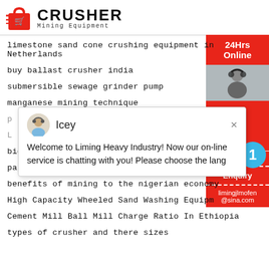[Figure (logo): Crusher Mining Equipment logo with red shopping bag icon and bold CRUSHER text]
limestone sand cone crushing equipment in Netherlands
buy ballast crusher india
submersible sewage grinder pump
manganese mining technique
big woman crushing in south africa
paper mill in lahore list
benefits of mining to the nigerian economy
High Capacity Wheeled Sand Washing Equipm...
Cement Mill Ball Mill Charge Ratio In Ethiopia
types of crusher and there sizes
24Hrs Online
Need & suggestions
Chat Now
Enquiry
limingjlmofen@sina.com
Icey — Welcome to Liming Heavy Industry! Now our on-line service is chatting with you! Please choose the lang